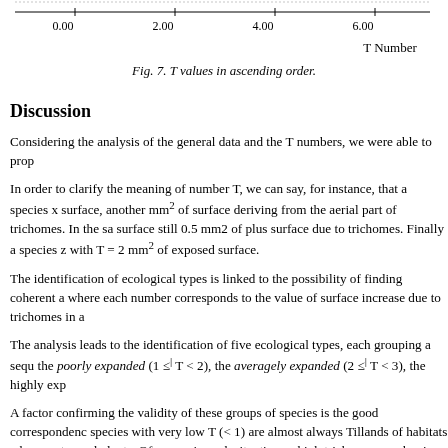[Figure (continuous-plot): Bottom portion of Fig. 7 showing T Number axis with tick marks at 0.00, 2.00, 4.00, 6.00 and label 'T Number']
Fig. 7. T values in ascending order.
Discussion
Considering the analysis of the general data and the T numbers, we were able to prop
In order to clarify the meaning of number T, we can say, for instance, that a species x surface, another mm² of surface deriving from the aerial part of trichomes. In the sa surface still 0.5 mm2 of plus surface due to trichomes. Finally a species z with T = 2 mm² of exposed surface.
The identification of ecological types is linked to the possibility of finding coherent a where each number corresponds to the value of surface increase due to trichomes in a
The analysis leads to the identification of five ecological types, each grouping a sequ the poorly expanded (1 ≤ T < 2), the averagely expanded (2 ≤ T < 3), the highly exp
A factor confirming the validity of these groups of species is the good correspondenc species with very low T (< 1) are almost always Tillands of habitats where water and plants. Of course in such situations a high trichomes number is superfluous and so an characterized by very high T values (> 4) are plants living in arid and windy environ ecological niches more exposed to sun radiation and hence less defended from atmos cables and so on).
Analysing more in detail the ecological types here proposed, we find the following: